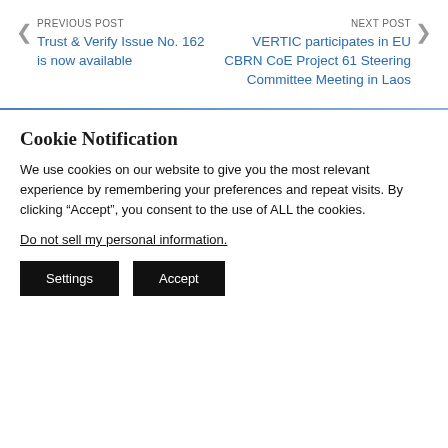PREVIOUS POST
Trust & Verify Issue No. 162 is now available
NEXT POST
VERTIC participates in EU CBRN CoE Project 61 Steering Committee Meeting in Laos
Cookie Notification
We use cookies on our website to give you the most relevant experience by remembering your preferences and repeat visits. By clicking “Accept”, you consent to the use of ALL the cookies.
Do not sell my personal information.
Settings   Accept